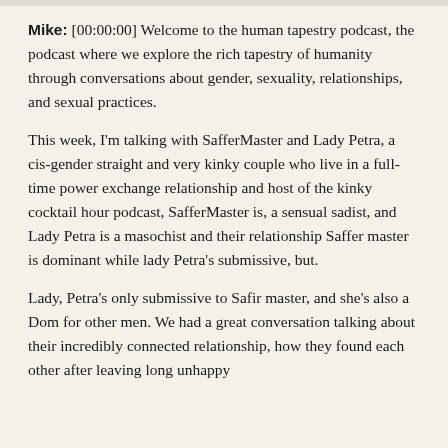Mike: [00:00:00] Welcome to the human tapestry podcast, the podcast where we explore the rich tapestry of humanity through conversations about gender, sexuality, relationships, and sexual practices.
This week, I'm talking with SafferMaster and Lady Petra, a cis-gender straight and very kinky couple who live in a full-time power exchange relationship and host of the kinky cocktail hour podcast, SafferMaster is, a sensual sadist, and Lady Petra is a masochist and their relationship Saffer master is dominant while lady Petra's submissive, but.
Lady, Petra's only submissive to Safir master, and she's also a Dom for other men. We had a great conversation talking about their incredibly connected relationship, how they found each other after leaving long unhappy